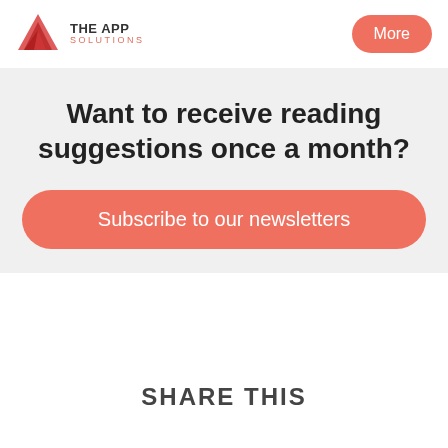[Figure (logo): The App Solutions logo with red triangle/mountain icon and text 'THE APP SOLUTIONS']
More
Want to receive reading suggestions once a month?
Subscribe to our newsletters
SHARE THIS